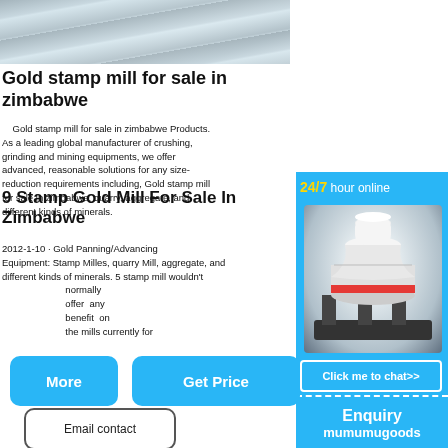[Figure (photo): Partial view of industrial mill or machinery, gray metallic surfaces]
Gold stamp mill for sale in zimbabwe
Gold stamp mill for sale in zimbabwe Products. As a leading global manufacturer of crushing, grinding and mining equipments, we offer advanced, reasonable solutions for any size-reduction requirements including, Gold stamp mill for sale in zimbabwe, quarry, aggregate, and different kinds of minerals. 5 stamp mill wouldn't normally offer any benefit on the mills currently for
9 Stamp Gold Mill For Sale In Zimbabwe
2012-1-10 · Gold Panning/Advancing Equipment: Stamp Milles,quarry Mill,aggregate,and different kinds of minerals. 5 stamp mill wouldn't normally offer any benefit on the mills currently for
[Figure (photo): Industrial cone crusher machine, white and red, with 24/7 hour online chat widget, blue background]
24/7 hour online
Click me to chat>>
Enquiry
mumumugoods
More
Get Price
Email contact